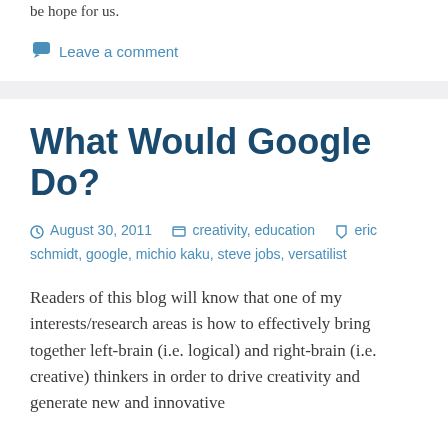be hope for us.
Leave a comment
What Would Google Do?
August 30, 2011   creativity, education   eric schmidt, google, michio kaku, steve jobs, versatilist
Readers of this blog will know that one of my interests/research areas is how to effectively bring together left-brain (i.e. logical) and right-brain (i.e. creative) thinkers in order to drive creativity and generate new and innovative